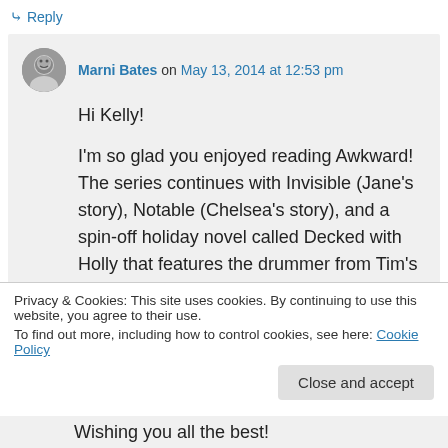↳ Reply
Marni Bates on May 13, 2014 at 12:53 pm
Hi Kelly!
I'm so glad you enjoyed reading Awkward! The series continues with Invisible (Jane's story), Notable (Chelsea's story), and a spin-off holiday novel called Decked with Holly that features the drummer from Tim's
Privacy & Cookies: This site uses cookies. By continuing to use this website, you agree to their use.
To find out more, including how to control cookies, see here: Cookie Policy
Close and accept
Wishing you all the best!